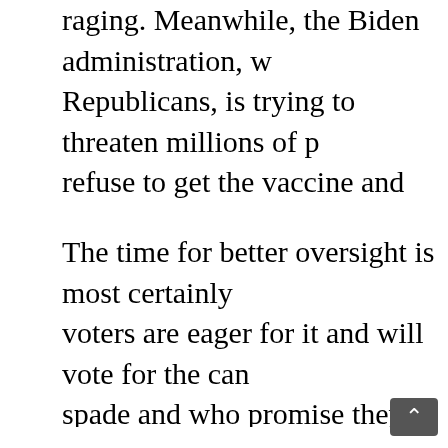raging. Meanwhile, the Biden administration, with Republicans, is trying to threaten millions of p refuse to get the vaccine and siccing its Depart tired of radically far-left indoctrination being f
The time for better oversight is most certainly voters are eager for it and will vote for the can spade and who promise they will finally, at lon in the swamp.
I can't honestly say if Gaetz, Taylor Greene, Jo leadership to Washington D.C., but I do know to the fact that our nation and the values that p the rocks.
The establishment left has been wildly agress and brazen with its rabid statism and b co